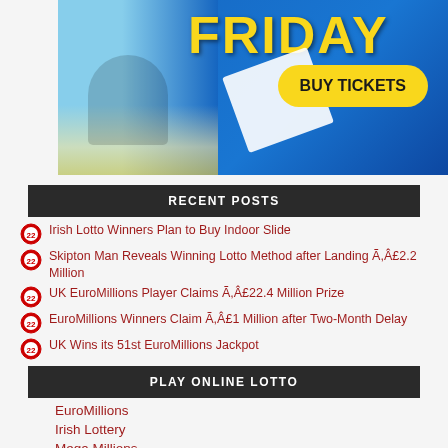[Figure (photo): Lottery advertisement banner showing a couple on a beach, blue background with 'FRIDAY' text and a yellow 'BUY TICKETS' button]
RECENT POSTS
Irish Lotto Winners Plan to Buy Indoor Slide
Skipton Man Reveals Winning Lotto Method after Landing Ã,Â£2.2 Million
UK EuroMillions Player Claims Ã,Â£22.4 Million Prize
EuroMillions Winners Claim Ã,Â£1 Million after Two-Month Delay
UK Wins its 51st EuroMillions Jackpot
PLAY ONLINE LOTTO
EuroMillions
Irish Lottery
Mega Millions
UK Lotto